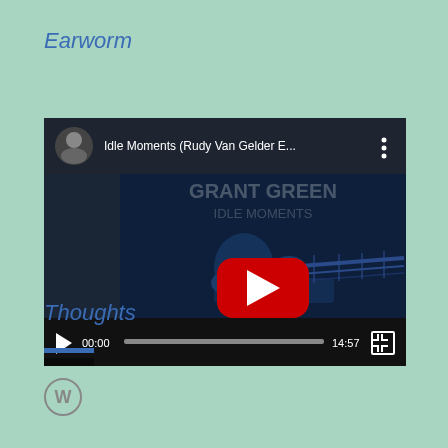Earworm
[Figure (screenshot): YouTube video player showing 'Idle Moments (Rudy Van Gelder E...' with album art of a guitarist in blue tones, red YouTube play button, and video controls showing 00:00 / 14:57]
Thoughts
[Figure (other): Blue horizontal rule/divider line]
[Figure (logo): WordPress logo icon (circle W)]